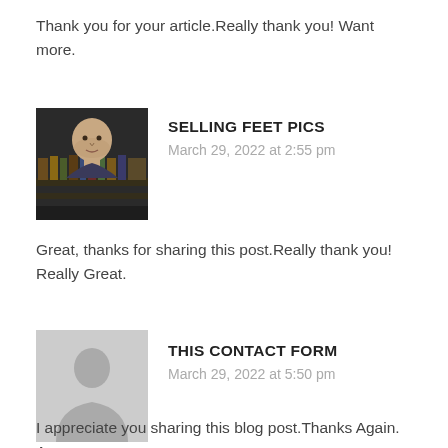Thank you for your article.Really thank you! Want more.
[Figure (photo): Profile photo of a bald man in front of bookshelves]
SELLING FEET PICS
March 29, 2022 at 2:55 pm
Great, thanks for sharing this post.Really thank you! Really Great.
[Figure (illustration): Generic grey person/user silhouette avatar placeholder]
THIS CONTACT FORM
March 29, 2022 at 5:50 pm
I appreciate you sharing this blog post.Thanks Again. Awesome.